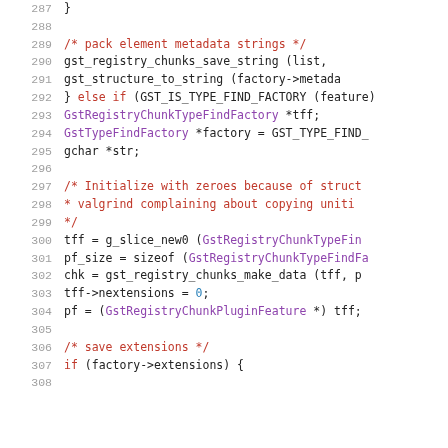Source code listing lines 287-307, C language GStreamer code
287    }
288
289        /* pack element metadata strings */
290        gst_registry_chunks_save_string (list,
291            gst_structure_to_string (factory->metada
292    } else if (GST_IS_TYPE_FIND_FACTORY (feature)
293        GstRegistryChunkTypeFindFactory *tff;
294        GstTypeFindFactory *factory = GST_TYPE_FIND_
295        gchar *str;
296
297        /* Initialize with zeroes because of struct
298         * valgrind complaining about copying uniti
299         */
300        tff = g_slice_new0 (GstRegistryChunkTypeFin
301        pf_size = sizeof (GstRegistryChunkTypeFindFa
302        chk = gst_registry_chunks_make_data (tff, p
303        tff->nextensions = 0;
304        pf = (GstRegistryChunkPluginFeature *) tff;
305
306        /* save extensions */
307        if (factory->extensions) {
308        ...